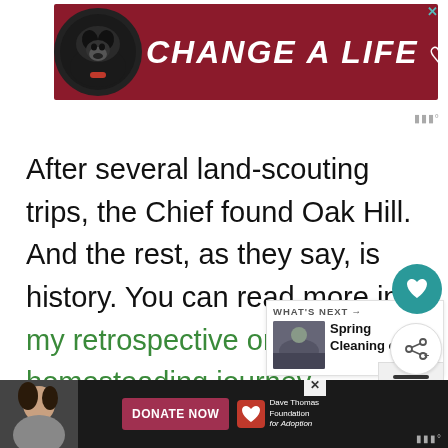[Figure (screenshot): Dark red advertisement banner with a black Labrador dog and bold white italic text reading CHANGE A LIFE with a heart icon, and a blue X close button in the top right corner]
After several land-scouting trips, the Chief found Oak Hill. And the rest, as they say, is history. You can read more in my retrospective on a homesteading journey.
[Figure (screenshot): What's Next card showing a thumbnail image and text reading Spring Cleaning on...]
If you're looking for homestead land, w... is imp... identify
[Figure (screenshot): Bottom advertisement banner with Donate Now button and Dave Thomas Foundation for Adoption logo on dark background]